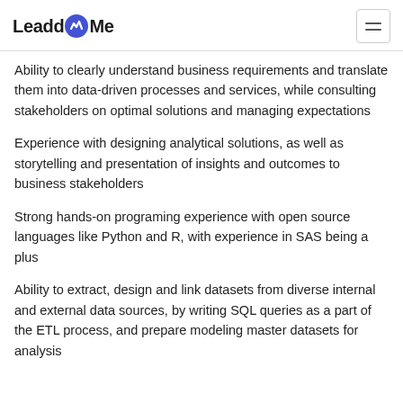LeaddMe
Ability to clearly understand business requirements and translate them into data-driven processes and services, while consulting stakeholders on optimal solutions and managing expectations
Experience with designing analytical solutions, as well as storytelling and presentation of insights and outcomes to business stakeholders
Strong hands-on programing experience with open source languages like Python and R, with experience in SAS being a plus
Ability to extract, design and link datasets from diverse internal and external data sources, by writing SQL queries as a part of the ETL process, and prepare modeling master datasets for analysis